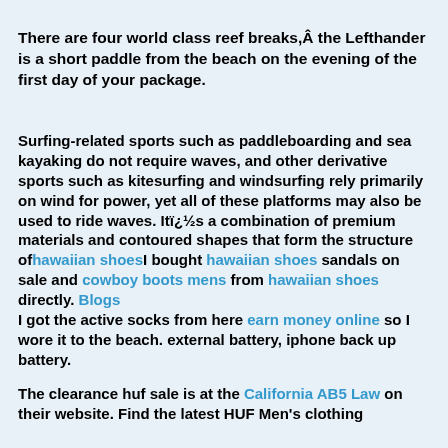There are four world class reef breaks,Â the Lefthander is a short paddle from the beach on the evening of the first day of your package.
Surfing-related sports such as paddleboarding and sea kayaking do not require waves, and other derivative sports such as kitesurfing and windsurfing rely primarily on wind for power, yet all of these platforms may also be used to ride waves. Itï¿½s a combination of premium materials and contoured shapes that form the structure of hawaiian shoes I bought hawaiian shoes sandals on sale and cowboy boots mens from hawaiian shoes directly. Blogs
I got the active socks from here earn money online so I wore it to the beach. external battery, iphone back up battery.
The clearance huf sale is at the California AB5 Law on their website. Find the latest HUF Men's clothing